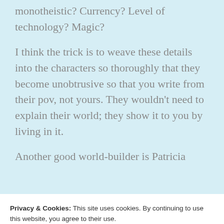monotheistic? Currency? Level of technology? Magic?
I think the trick is to weave these details into the characters so thoroughly that they become unobtrusive so that you write from their pov, not yours. They wouldn't need to explain their world; they show it to you by living in it.
Another good world-builder is Patricia
Privacy & Cookies: This site uses cookies. By continuing to use this website, you agree to their use.
To find out more, including how to control cookies, see here: Cookie Policy
Close and accept
Like
Reply